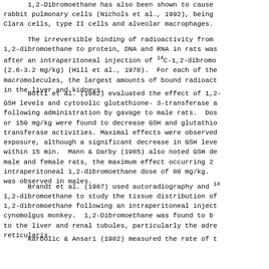1,2-Dibromoethane has also been shown to cause rabbit pulmonary cells (Nichols et al., 1992), being Clara cells, type II cells and alveolar macrophages.
The irreversible binding of radioactivity from 1,2-dibromoethane to protein, DNA and RNA in rats was after an intraperitoneal injection of 14C-1,2-dibromo (2.6-3.2 mg/kg) (Hill et al., 1978). For each of the macromolecules, the largest amounts of bound radioact in the liver and kidneys.
Botti et al. (1982) evaluated the effect of 1,2- GSH levels and cytosolic glutathione- S-transferase a following administration by gavage to male rats. Dos or 150 mg/kg were found to decrease GSH and glutathio transferase activities. Maximal effects were observed exposure, although a significant decrease in GSH leve within 15 min. Mann & Darby (1985) also noted GSH de male and female rats, the maximum effect occurring 2 intraperitoneal 1,2-dibromoethane dose of 80 mg/kg. was observed in males.
Brandt et al. (1987) used autoradiography and 14 1,2-dibromoethane to study the tissue distribution of 1,2-dibromoethane following an intraperitoneal inject cynomolgus monkey. 1,2-Dibromoethane was found to b to the liver and renal tubules, particularly the adre reticularis.
Karbolic & Ansari (1982) measured the rate of t